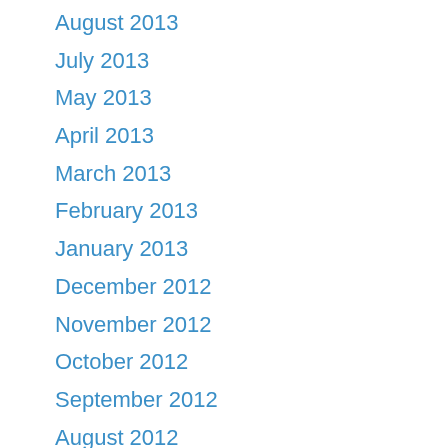August 2013
July 2013
May 2013
April 2013
March 2013
February 2013
January 2013
December 2012
November 2012
October 2012
September 2012
August 2012
May 2012
April 2012
March 2012